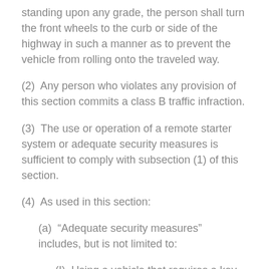standing upon any grade, the person shall turn the front wheels to the curb or side of the highway in such a manner as to prevent the vehicle from rolling onto the traveled way.
(2)  Any person who violates any provision of this section commits a class B traffic infraction.
(3)  The use or operation of a remote starter system or adequate security measures is sufficient to comply with subsection (1) of this section.
(4)  As used in this section:
(a)  “Adequate security measures” includes, but is not limited to:
(I)  Using a vehicle that requires a key to put the vehicle into gear and move the vehicle;